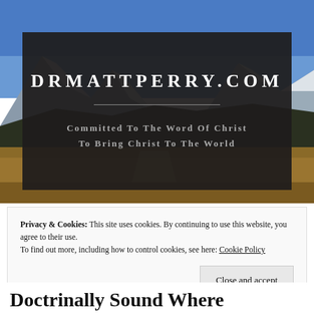[Figure (photo): Mountain landscape with blue sky and snow-capped peaks with dry golden grass in the foreground]
DRMATTPERRY.COM
Committed to the Word of Christ to Bring Christ to the World
Privacy & Cookies: This site uses cookies. By continuing to use this website, you agree to their use.
To find out more, including how to control cookies, see here: Cookie Policy
Close and accept
Doctrinally Sound Where